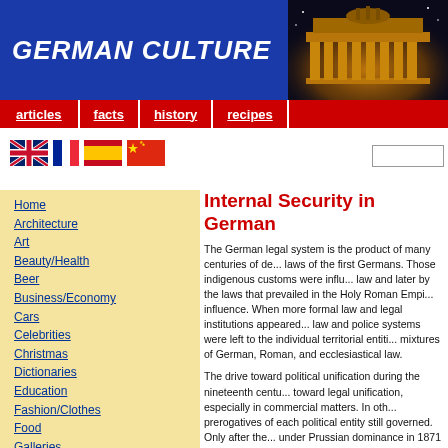GERMAN CULTURE
[Figure (photo): Brandenburg Gate at night, illuminated with golden/orange light against dark sky]
articles
facts
history
recipes
[Figure (illustration): Language flag icons: UK flag (English), French flag, Spanish flag, Chinese flag]
Home
Architecture
Art
Beauty/Health
Beer
Business/Economy
Cars
Celebrities
Christmas
Dictionaries
Education
Fashion/Clothes
Food
Galleries
Gays/Lesbians
Genealogy
German Names
Germans Abroad
History
Holidays
Homework Help
Learn German
Law
Literature
Loveparade
Internal Security in German
The German legal system is the product of many centuries of de... laws of the first Germans. Those indigenous customs were influ... law and later by the laws that prevailed in the Holy Roman Empi... influence. When more formal law and legal institutions appeared... law and police systems were left to the individual territorial entiti... mixtures of German, Roman, and ecclesiastical law.
The drive toward political unification during the nineteenth centu... toward legal unification, especially in commercial matters. In oth... prerogatives of each political entity still governed. Only after the... under Prussian dominance in 1871 was a start made on drawing...
The codes and laws on police and penal institutions adopted aft... degrees the influence of the Napoleonic Code. Patterns were es... continued to prevail. The most important of the early models we... three classes of imprisonment still in use in 1995; the procedura... establishing a unified court system; and the comprehensive Civi... scope of 2,385 paragraphs in 1900.
Parallel with the courts and laws, there developed a structure of...